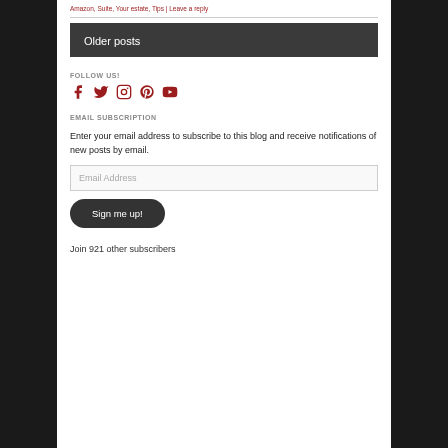Amazon, Suite, Your estate, Tips | Leave a reply
Older posts
FOLLOW US!
[Figure (illustration): Five social media icons: Facebook, Twitter, Instagram, Pinterest, YouTube in dark red/crimson color]
EMAIL SUBSCRIPTION
Enter your email address to subscribe to this blog and receive notifications of new posts by email.
Email Address
Sign me up!
Join 921 other subscribers